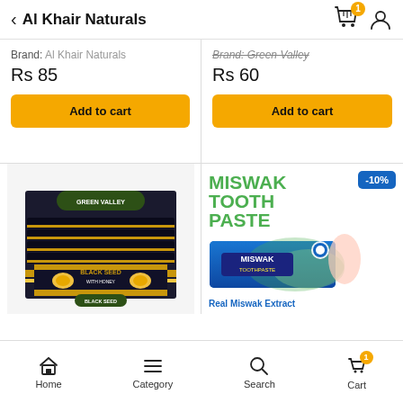Al Khair Naturals
Brand: Al Khair Naturals
Rs 85
Add to cart
Brand: Green Valley
Rs 60
Add to cart
[Figure (photo): Box of Green Valley Black Seed product display]
[Figure (photo): Miswak Toothpaste product with green packaging and -10% discount badge. Text: MISWAK TOOTH PASTE, Real Miswak Extract]
Home  Category  Search  Cart